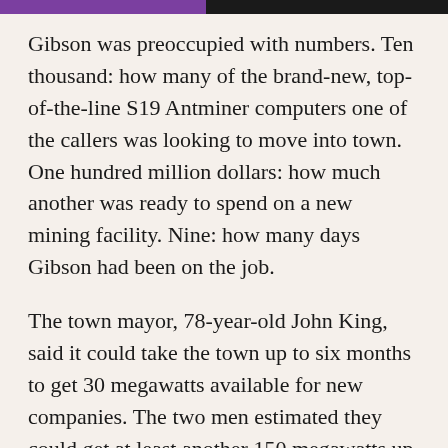Gibson was preoccupied with numbers. Ten thousand: how many of the brand-new, top-of-the-line S19 Antminer computers one of the callers was looking to move into town. One hundred million dollars: how much another was ready to spend on a new mining facility. Nine: how many days Gibson had been on the job.
The town mayor, 78-year-old John King, said it could take the town up to six months to get 30 megawatts available for new companies. The two men estimated they could get at least another 150 megawatts up and running on a